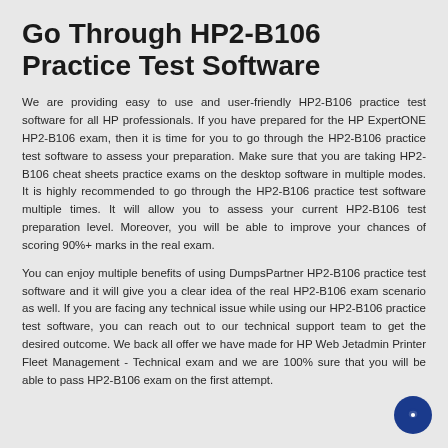Go Through HP2-B106 Practice Test Software
We are providing easy to use and user-friendly HP2-B106 practice test software for all HP professionals. If you have prepared for the HP ExpertONE HP2-B106 exam, then it is time for you to go through the HP2-B106 practice test software to assess your preparation. Make sure that you are taking HP2-B106 cheat sheets practice exams on the desktop software in multiple modes. It is highly recommended to go through the HP2-B106 practice test software multiple times. It will allow you to assess your current HP2-B106 test preparation level. Moreover, you will be able to improve your chances of scoring 90%+ marks in the real exam.
You can enjoy multiple benefits of using DumpsPartner HP2-B106 practice test software and it will give you a clear idea of the real HP2-B106 exam scenario as well. If you are facing any technical issue while using our HP2-B106 practice test software, you can reach out to our technical support team to get the desired outcome. We back all offer we have made for HP Web Jetadmin Printer Fleet Management - Technical exam and we are 100% sure that you will be able to pass HP2-B106 exam on the first attempt.